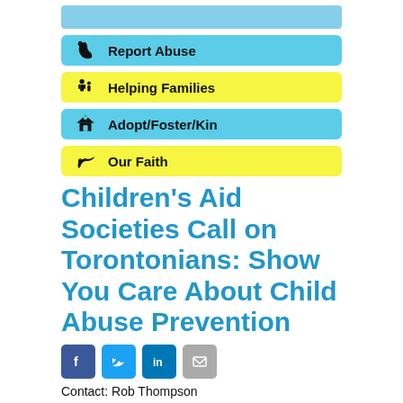[Figure (other): Light blue navigation bar at top]
Report Abuse
Helping Families
Adopt/Foster/Kin
Our Faith
Children's Aid Societies Call on Torontonians: Show You Care About Child Abuse Prevention
[Figure (infographic): Social media share buttons: Facebook, Twitter, LinkedIn, Email]
Contact: Rob Thompson